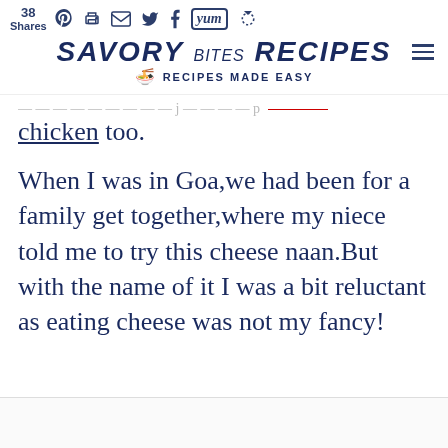38 Shares | Savory Bites Recipes — Recipes Made Easy
chicken too.
When I was in Goa,we had been for a family get together,where my niece told me to try this cheese naan.But with the name of it I was a bit reluctant as eating cheese was not my fancy!